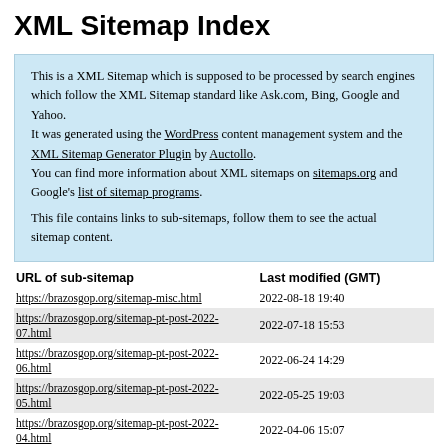XML Sitemap Index
This is a XML Sitemap which is supposed to be processed by search engines which follow the XML Sitemap standard like Ask.com, Bing, Google and Yahoo.
It was generated using the WordPress content management system and the XML Sitemap Generator Plugin by Auctollo.
You can find more information about XML sitemaps on sitemaps.org and Google's list of sitemap programs.

This file contains links to sub-sitemaps, follow them to see the actual sitemap content.
| URL of sub-sitemap | Last modified (GMT) |
| --- | --- |
| https://brazosgop.org/sitemap-misc.html | 2022-08-18 19:40 |
| https://brazosgop.org/sitemap-pt-post-2022-07.html | 2022-07-18 15:53 |
| https://brazosgop.org/sitemap-pt-post-2022-06.html | 2022-06-24 14:29 |
| https://brazosgop.org/sitemap-pt-post-2022-05.html | 2022-05-25 19:03 |
| https://brazosgop.org/sitemap-pt-post-2022-04.html | 2022-04-06 15:07 |
| https://brazosgop.org/sitemap-pt-post-2022-03.html | 2022-03-21 16:22 |
| https://brazosgop.org/sitemap-pt-post-2022-02.html | 2022-02-22 20:48 |
| https://brazosgop.org/sitemap-pt-post-2022-01.html | 2022-01-19 21:50 |
| https://brazosgop.org/sitemap-pt-post-2021-12.html | 2021-12-31 18:09 |
| https://brazosgop.org/sitemap-pt-post-2021-11.html | 2021-11-30 13:00 |